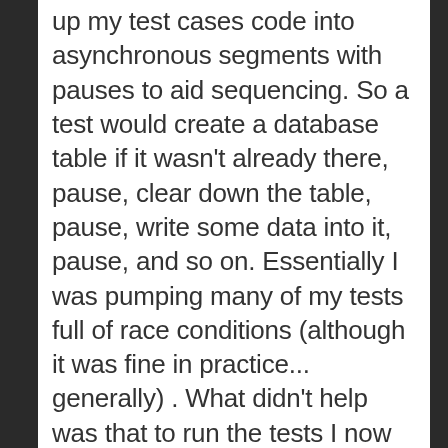up my test cases code into asynchronous segments with pauses to aid sequencing. So a test would create a database table if it wasn't already there, pause, clear down the table, pause, write some data into it, pause, and so on. Essentially I was pumping many of my tests full of race conditions (although it was fine in practice... generally) . What didn't help was that to run the tests I now needed a browser which supported the HTML5 SQL database API, and on my Windows box that meant only Safari. Which, it turns out, is spectacularly disappointing: slow, resource-hungry, and oddly buggy. Test